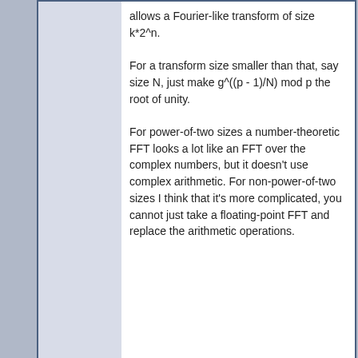allows a Fourier-like transform of size k*2^n.

For a transform size smaller than that, say size N, just make g^((p - 1)/N) mod p the root of unity.

For power-of-two sizes a number-theoretic FFT looks a lot like an FFT over the complex numbers, but it doesn't use complex arithmetic. For non-power-of-two sizes I think that it's more complicated, you cannot just take a floating-point FFT and replace the arithmetic operations.
[Figure (illustration): Quote button icon]
2012-01-26, 18:59  #8
Maximus
Nov 2011
2^2·3 Posts
some corrections
Quote:
Originally Posted by Maximus
Calculate 2^(4*21) mod 337 = 1. But must be -1. So 2 is not eligible.
Saying more correct, number must not be equal to 1, but needs some additional calculations and longer to explain.